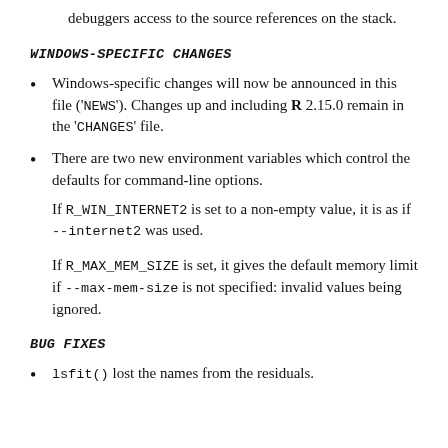R_outoflimnames have been added to the API to allow debuggers access to the source references on the stack.
WINDOWS-SPECIFIC CHANGES
Windows-specific changes will now be announced in this file ('NEWS'). Changes up and including R 2.15.0 remain in the 'CHANGES' file.
There are two new environment variables which control the defaults for command-line options.

If R_WIN_INTERNET2 is set to a non-empty value, it is as if --internet2 was used.

If R_MAX_MEM_SIZE is set, it gives the default memory limit if --max-mem-size is not specified: invalid values being ignored.
BUG FIXES
lsfit() lost the names from the residuals.